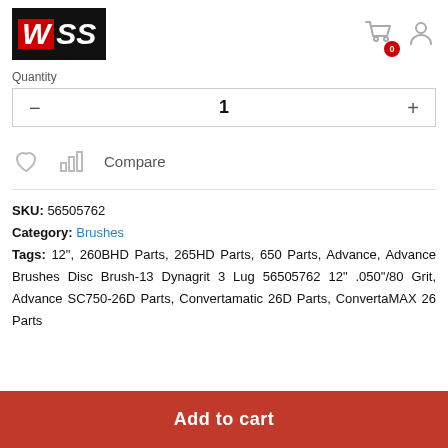[Figure (logo): WSS logo — white W on red background, SS in white on black background]
Quantity
— 1 +
[Figure (illustration): Heart (wishlist) icon and bar chart (compare) icon with Compare label]
SKU: 56505762
Category: Brushes
Tags: 12", 260BHD Parts, 265HD Parts, 650 Parts, Advance, Advance Brushes Disc Brush-13 Dynagrit 3 Lug 56505762 12" .050"/80 Grit, Advance SC750-26D Parts, Convertamatic 26D Parts, ConvertaMAX 26 Parts
Add to cart